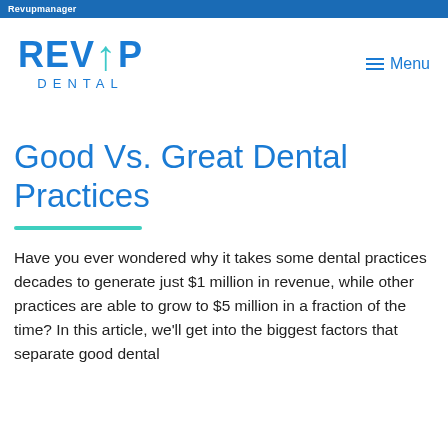Revupmanager
[Figure (logo): Rev Up Dental logo with teal upward arrow between V and P, and Menu navigation button on the right]
Good Vs. Great Dental Practices
Have you ever wondered why it takes some dental practices decades to generate just $1 million in revenue, while other practices are able to grow to $5 million in a fraction of the time? In this article, we'll get into the biggest factors that separate good dental